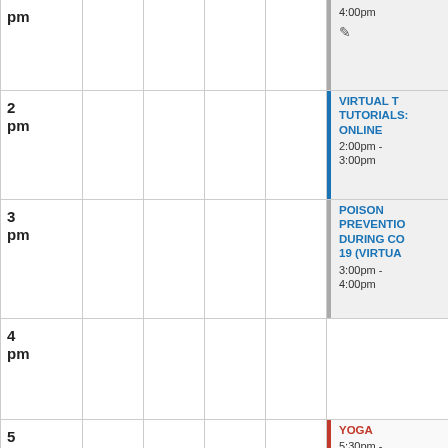| Time | Col1 | Col2 | Col3 | Col4 | Col5 |
| --- | --- | --- | --- | --- | --- |
| pm |  |  |  |  | 4:00pm [edit icon] |
| 2 pm |  |  |  |  | VIRTUAL T TUTORIALS ONLINE 2:00pm - 3:00pm |
| 3 pm |  |  |  |  | POISON PREVENTION DURING CO 19 (VIRTUAL 3:00pm - 4:00pm |
| 4 pm |  |  |  |  |  |
| 5 pm |  |  |  |  | YOGA 5:30pm - 6:00pm |